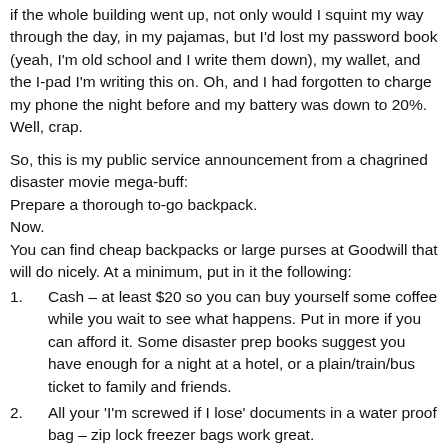if the whole building went up, not only would I squint my way through the day, in my pajamas, but I'd lost my password book (yeah, I'm old school and I write them down), my wallet, and the I-pad I'm writing this on. Oh, and I had forgotten to charge my phone the night before and my battery was down to 20%. Well, crap.
So, this is my public service announcement from a chagrined disaster movie mega-buff:
Prepare a thorough to-go backpack.
Now.
You can find cheap backpacks or large purses at Goodwill that will do nicely. At a minimum, put in it the following:
1.   Cash – at least $20 so you can buy yourself some coffee while you wait to see what happens. Put in more if you can afford it. Some disaster prep books suggest you have enough for a night at a hotel, or a plain/train/bus ticket to family and friends.
2.   All your 'I'm screwed if I lose' documents in a water proof bag – zip lock freezer bags work great.
3.   A change of clothes and street shoes – sweats and a t-shirt are fine, but you might want to add a jacket in case the alarm goes off in the winter.